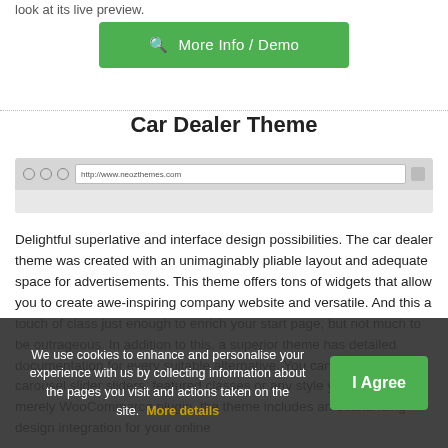look at its live preview.
More Info / Demo
Car Dealer Theme
[Figure (screenshot): Browser window mockup showing address bar with http://www.neozthemes.com]
Delightful superlative and interface design possibilities. The car dealer theme was created with an unimaginably pliable layout and adequate space for advertisements. This theme offers tons of widgets that allow you to create awe-inspiring company website and versatile. And this a touch of class just enough to enrich your start page, but not much to be outrageous. In addition to this, a superior theme has detailed documentation for every suitable alternative. You can set posts carousel slider sliders, featured classes or any style you like. Not merely WooCommerce plugin, the theme includes an outstanding design integration for your online
We use cookies to enhance and personalise your experience with us by collecting information about the pages you visit and actions taken on the site.  More details
I Agree